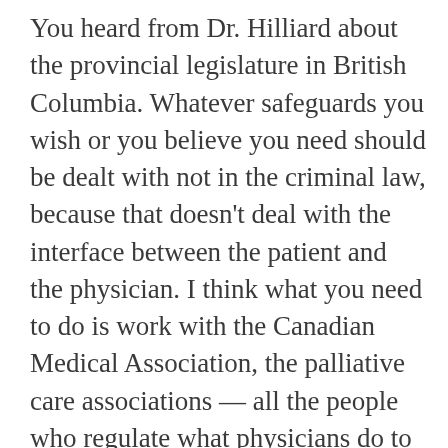You heard from Dr. Hilliard about the provincial legislature in British Columbia. Whatever safeguards you wish or you believe you need should be dealt with not in the criminal law, because that doesn't deal with the interface between the patient and the physician. I think what you need to do is work with the Canadian Medical Association, the palliative care associations — all the people who regulate what physicians do to ensure that you put in a mechanism of ethics, and penalties for violations of those ethics if someone is unduly or improperly pressured to have MAID when it is not in their best interest or it is not their choice.